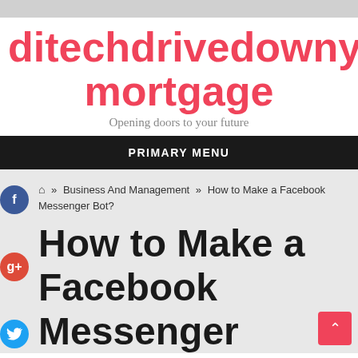ditechdrivedownyour mortgage
Opening doors to your future
PRIMARY MENU
🏠 » Business And Management » How to Make a Facebook Messenger Bot?
How to Make a Facebook Messenger Bot?